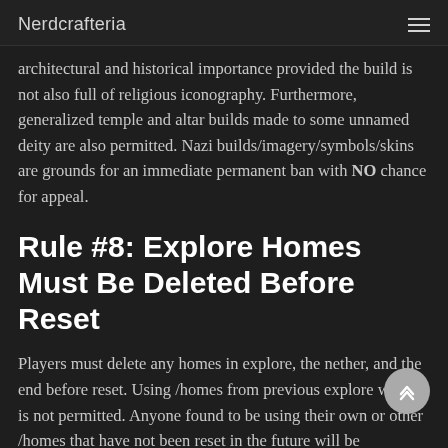Nerdcrafteria
architectural and historical importance provided the build is not also full of religious iconography. Furthermore, generalized temple and altar builds made to some unnamed deity are also permitted. Nazi builds/imagery/symbols/skins are grounds for an immediate permanent ban with NO chance for appeal.
Rule #8: Explore Homes Must Be Deleted Before Reset
Players must delete any homes in explore, the nether, and the end before reset. Using /homes from previous explore worlds is not permitted. Anyone found to be using their own or other /homes that have not been reset in the future will be